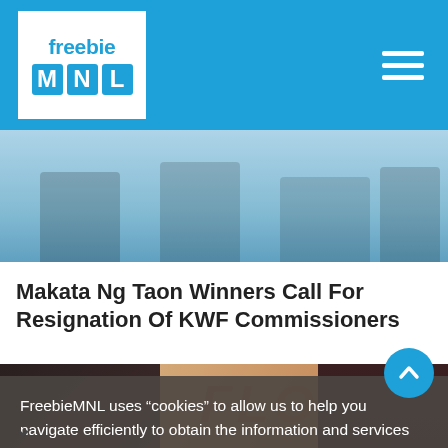freebie MNL
[Figure (photo): Partial hero image with blue/light background, partially visible figures at top]
Makata Ng Taon Winners Call For Resignation Of KWF Commissioners
[Figure (photo): FLO girl band photo collage on peach/brown background with FLO text overlay and multiple group/individual shots]
FreebieMNL uses “cookies” to allow us to help you navigate efficiently to obtain the information and services you need and to enhance user experience. Find out more here
Okay
FLO Might Be The Girl Band Serving Destiny’s Child And Little Mix Vibes